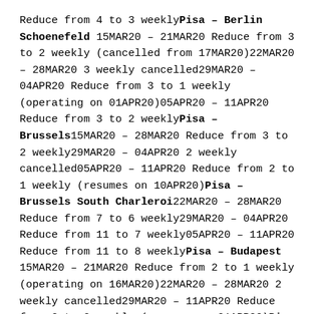Reduce from 4 to 3 weeklyPisa – Berlin Schoenefeld 15MAR20 – 21MAR20 Reduce from 3 to 2 weekly (cancelled from 17MAR20)22MAR20 – 28MAR20 3 weekly cancelled29MAR20 – 04APR20 Reduce from 3 to 1 weekly (operating on 01APR20)05APR20 – 11APR20 Reduce from 3 to 2 weeklyPisa – Brussels15MAR20 – 28MAR20 Reduce from 3 to 2 weekly29MAR20 – 04APR20 2 weekly cancelled05APR20 – 11APR20 Reduce from 2 to 1 weekly (resumes on 10APR20)Pisa – Brussels South Charleroi22MAR20 – 28MAR20 Reduce from 7 to 6 weekly29MAR20 – 04APR20 Reduce from 11 to 7 weekly05APR20 – 11APR20 Reduce from 11 to 8 weeklyPisa – Budapest 15MAR20 – 21MAR20 Reduce from 2 to 1 weekly (operating on 16MAR20)22MAR20 – 28MAR20 2 weekly cancelled29MAR20 – 11APR20 Reduce from 3 to 2 weekly (resumes on 01APR20)Pisa – Dublin29MAR20 – 04APR20 Reduce from 4 to 2 weekly05APR20 – 11APR20 Reduce from 4 to 3 weeklyPisa – Edinburgh 29MAR20 – 04APR20 Reduce from 3 to 2